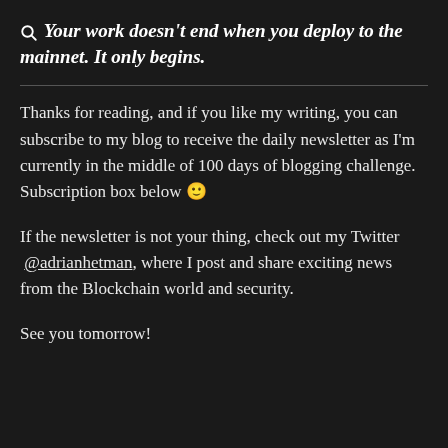Your work doesn't end when you deploy to the mainnet. It only begins.
Thanks for reading, and if you like my writing, you can subscribe to my blog to receive the daily newsletter as I'm currently in the middle of 100 days of blogging challenge. Subscription box below 🙂
If the newsletter is not your thing, check out my Twitter @adrianhetman, where I post and share exciting news from the Blockchain world and security.
See you tomorrow!